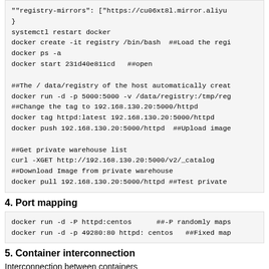""registry-mirrors": ["https://cu06xt8l.mirror.aliyu
}
systemctl restart docker
docker create -it registry /bin/bash  ##Load the regi
docker ps -a
docker start 231d40e811cd   ##open

##The / data/registry of the host automatically creat
docker run -d -p 5000:5000 -v /data/registry:/tmp/reg
##Change the tag to 192.168.130.20:5000/httpd
docker tag httpd:latest 192.168.130.20:5000/httpd
docker push 192.168.130.20:5000/httpd  ##Upload image

##Get private warehouse list
curl -XGET http://192.168.130.20:5000/v2/_catalog
##Download Image from private warehouse
docker pull 192.168.130.20:5000/httpd ##Test private
4. Port mapping
docker run -d -P httpd:centos      ##-P randomly maps
docker run -d -p 49280:80 httpd: centos   ##Fixed map
5. Container interconnection
Interconnection between containers
docker run -itd -P --name web1 centos /bin/bash   ##
##Create and run a container named web2, connect to w